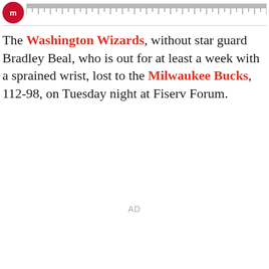[Logo and ruler bar]
The Washington Wizards, without star guard Bradley Beal, who is out for at least a week with a sprained wrist, lost to the Milwaukee Bucks, 112-98, on Tuesday night at Fiserv Forum.
AD